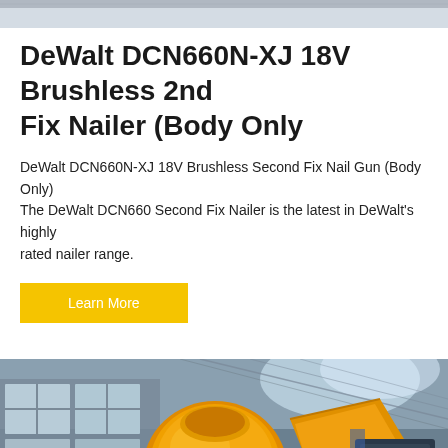[Figure (photo): Top strip showing partial industrial/workshop scene at the very top of the page]
DeWalt DCN660N-XJ 18V Brushless 2nd Fix Nailer (Body Only
DeWalt DCN660N-XJ 18V Brushless Second Fix Nail Gun (Body Only) The DeWalt DCN660 Second Fix Nailer is the latest in DeWalt's highly rated nailer range.
[Figure (other): Yellow 'Learn More' button]
[Figure (photo): Large yellow industrial concrete mixer machine photographed in a warehouse/factory setting with windows and steel roof structure visible in background]